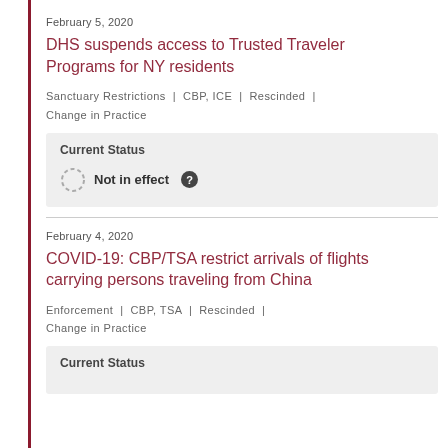February 5, 2020
DHS suspends access to Trusted Traveler Programs for NY residents
Sanctuary Restrictions | CBP, ICE | Rescinded | Change in Practice
Current Status
Not in effect
February 4, 2020
COVID-19: CBP/TSA restrict arrivals of flights carrying persons traveling from China
Enforcement | CBP, TSA | Rescinded | Change in Practice
Current Status